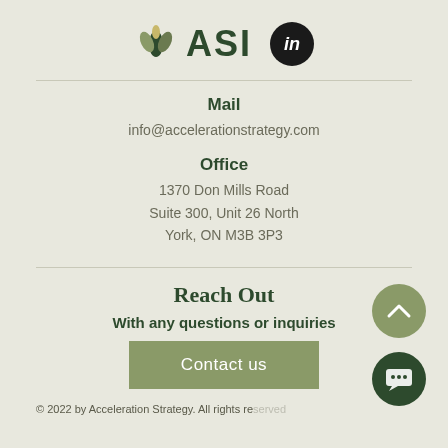[Figure (logo): ASI logo with leaf icon and LinkedIn icon circle]
Mail
info@accelerationstrategy.com
Office
1370 Don Mills Road
Suite 300, Unit 26 North
York, ON M3B 3P3
Reach Out
With any questions or inquiries
Contact us
© 2022 by Acceleration Strategy. All rights reserved.